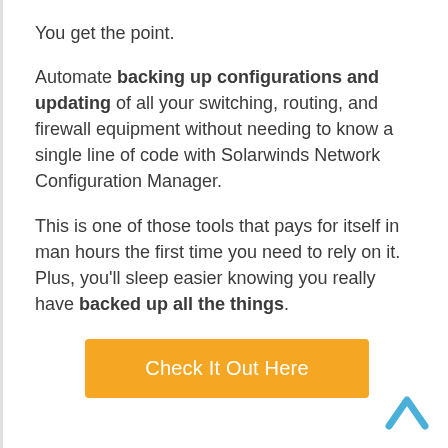You get the point.
Automate backing up configurations and updating of all your switching, routing, and firewall equipment without needing to know a single line of code with Solarwinds Network Configuration Manager.
This is one of those tools that pays for itself in man hours the first time you need to rely on it. Plus, you’ll sleep easier knowing you really have backed up all the things.
[Figure (other): Orange button labeled 'Check It Out Here']
[Figure (other): Blue upward-pointing chevron arrow icon in bottom right corner]